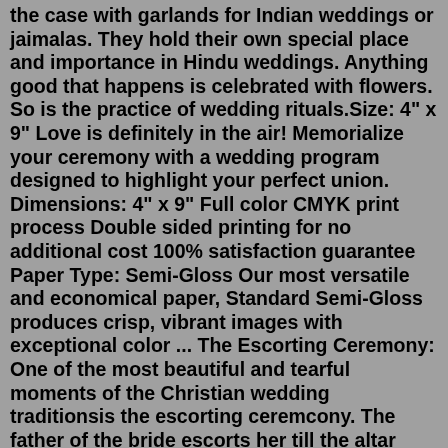the case with garlands for Indian weddings or jaimalas. They hold their own special place and importance in Hindu weddings. Anything good that happens is celebrated with flowers. So is the practice of wedding rituals.Size: 4" x 9" Love is definitely in the air! Memorialize your ceremony with a wedding program designed to highlight your perfect union. Dimensions: 4" x 9" Full color CMYK print process Double sided printing for no additional cost 100% satisfaction guarantee Paper Type: Semi-Gloss Our most versatile and economical paper, Standard Semi-Gloss produces crisp, vibrant images with exceptional color ... The Escorting Ceremony: One of the most beautiful and tearful moments of the Christian wedding traditionsis the escorting ceremcony. The father of the bride escorts her till the altar where the groom is waiting for her. The father shakes hand with the groom and gives his daughter's hand to him. Wedding Vows And The ‘I Do’: The ceremony is ... (This is a non-denomination, traditional Christian Ceremony that you may modify or add to.) Welcome